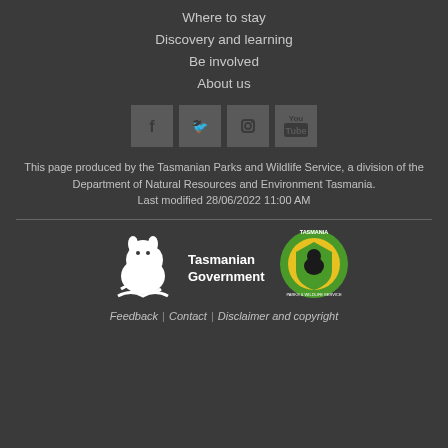Where to stay
Discovery and learning
Be involved
About us
[Figure (other): Social media icons: Facebook, Twitter, Instagram, YouTube]
This page produced by the Tasmanian Parks and Wildlife Service, a division of the Department of Natural Resources and Environment Tasmania. Last modified 28/06/2022 11:00 AM
[Figure (logo): Tasmanian Government logo with Tasmanian devil silhouette]
[Figure (logo): Tasmania Parks and Wildlife Service circular badge logo]
Feedback | Contact | Disclaimer and copyright